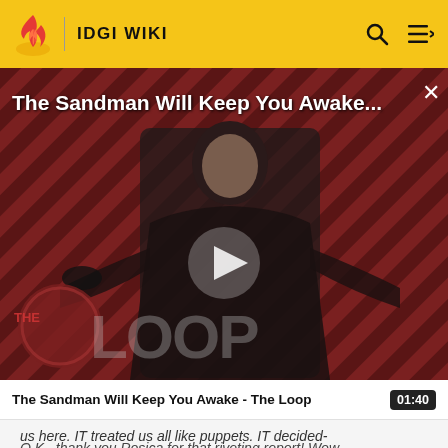IDGI WIKI
[Figure (screenshot): Video thumbnail showing a dark-cloaked figure (The Sandman) against a red and black diagonal striped background with 'THE LOOP' text overlay. A white play button triangle is centered on the image. Title overlay reads 'The Sandman Will Keep You Awake...' with a close (X) button.]
The Sandman Will Keep You Awake - The Loop
us here. IT treated us all like puppets. IT decided-
O.K., thank you Rosica for that riveting report! Wow